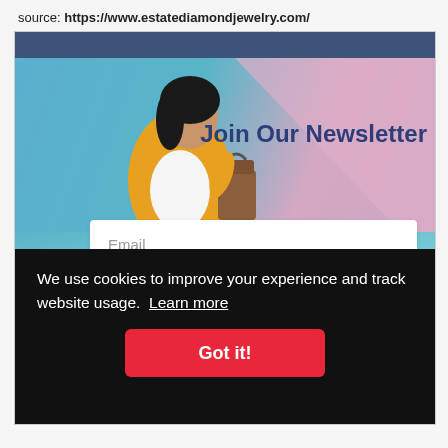source: https://www.estatediamondjewelry.com/
[Figure (screenshot): Screenshot of estatediamondjewelry.com newsletter signup popup with a woman carrying shopping bags in a colorful background, Email and Name input fields visible, partially overlaid by a cookie consent banner reading 'We use cookies to improve your experience and track website usage. Learn more' with a red 'Got it!' button.]
Join Our Newsletter
Email
Name
We use cookies to improve your experience and track website usage.  Learn more
Got it!